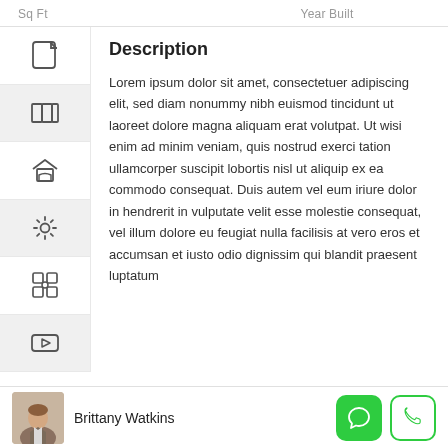Sq Ft
Year Built
[Figure (illustration): Sidebar with navigation icons: note/document icon, map/book icon, house with chart icon, settings/gear icon, puzzle/integration icon, play/video icon]
Description
Lorem ipsum dolor sit amet, consectetuer adipiscing elit, sed diam nonummy nibh euismod tincidunt ut laoreet dolore magna aliquam erat volutpat. Ut wisi enim ad minim veniam, quis nostrud exerci tation ullamcorper suscipit lobortis nisl ut aliquip ex ea commodo consequat. Duis autem vel eum iriure dolor in hendrerit in vulputate velit esse molestie consequat, vel illum dolore eu feugiat nulla facilisis at vero eros et accumsan et iusto odio dignissim qui blandit praesent luptatum
[Figure (photo): Photo of a woman (Brittany Watkins) in business attire with arms crossed]
Brittany Watkins
[Figure (illustration): Green chat/message button icon]
[Figure (illustration): Green phone/call button icon (outlined)]